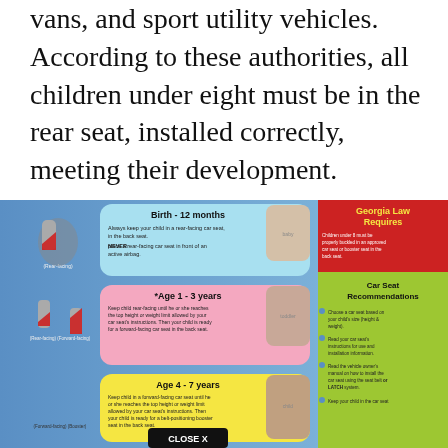vans, and sport utility vehicles. According to these authorities, all children under eight must be in the rear seat, installed correctly, meeting their development.
[Figure (infographic): Car seat safety infographic showing age-based car seat recommendations with sections for Birth-12 months (rear-facing), Age 1-3 years (rear-facing then forward-facing), Age 4-7 years (forward-facing/booster), and a Georgia Law Requires panel with Car Seat Recommendations bullet points.]